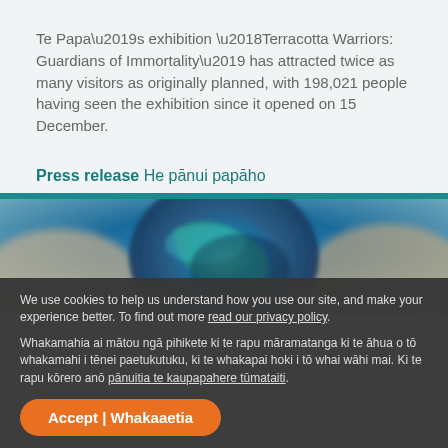Te Papa’s exhibition ‘Terracotta Warriors: Guardians of Immortality’ has attracted twice as many visitors as originally planned, with 198,021 people having seen the exhibition since it opened on 15 December.
Press release He pānui papāho
[Figure (photo): Photo showing hands holding a blue/teal decorative object or artwork, blurred/bokeh background]
We use cookies to help us understand how you use our site, and make your experience better. To find out more read our privacy policy.
Whakamahia ai mātou ngā pihikete ki te rapu māramatanga ki te āhua o tō whakamahi i tēnei paetukutuku, ki te whakapai hoki i tō whai wāhi mai. Ki te rapu kōrero anō pānuitia te kaupapahere tūmataiti.
Accept | Whakaaetia